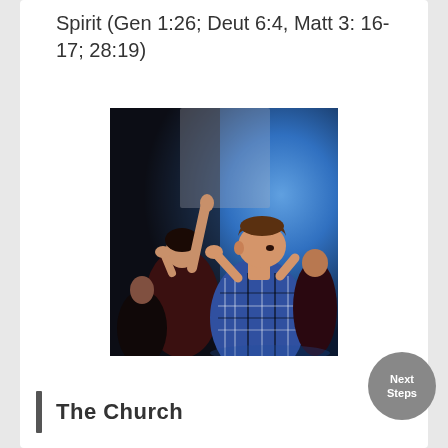Spirit (Gen 1:26; Deut 6:4, Matt 3: 16-17; 28:19)
[Figure (photo): People in a worship setting with hands raised, blue stage lighting in background. A young man in a plaid shirt and a woman behind him with arms raised.]
The Church